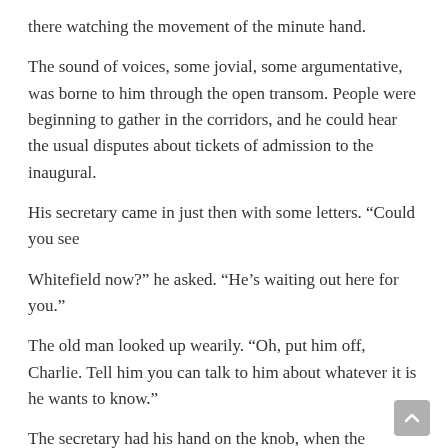there watching the movement of the minute hand.
The sound of voices, some jovial, some argumentative, was borne to him through the open transom. People were beginning to gather in the corridors, and he could hear the usual disputes about tickets of admission to the inaugural.
His secretary came in just then with some letters. “Could you see
Whitefield now?” he asked. “He’s waiting out here for you.”
The old man looked up wearily. “Oh, put him off, Charlie. Tell him you can talk to him about whatever it is he wants to know.”
The secretary had his hand on the knob, when the Governor added, “And, Charlie, keep everybody out, if you can. I’m—I’ve got a few private matters to go over.”
The younger man nodded and opened the door. He half closed it